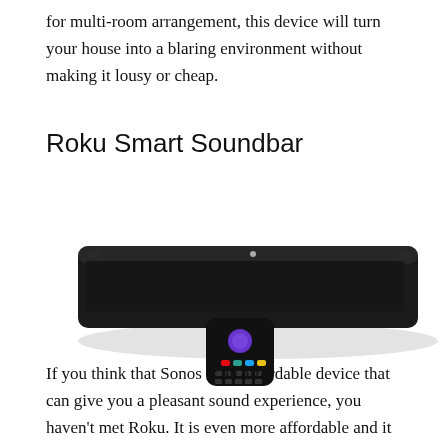for multi-room arrangement, this device will turn your house into a blaring environment without making it lousy or cheap.
Roku Smart Soundbar
[Figure (photo): Photo of the Roku Smart Soundbar, a long black horizontal soundbar, with a black Roku remote control placed in front of it at an angle.]
If you think that Sonos is an affordable device that can give you a pleasant sound experience, you haven't met Roku. It is even more affordable and it manages to set